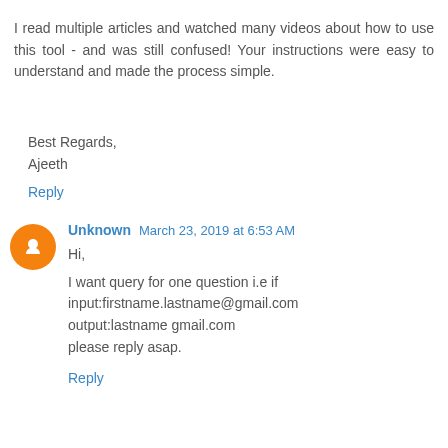I read multiple articles and watched many videos about how to use this tool - and was still confused! Your instructions were easy to understand and made the process simple.
Best Regards,
Ajeeth
Reply
Unknown  March 23, 2019 at 6:53 AM
Hi,

I want query for one question i.e if
input:firstname.lastname@gmail.com
output:lastname gmail.com
please reply asap.
Reply